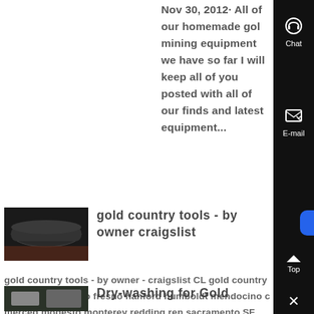Nov 30, 2012· All of our homemade gold mining equipment we have so far I will keep all of you posted with all of our finds and latest equipment...
[Figure (photo): Thumbnail image of gold mining equipment - dark cylindrical object]
gold country tools - by owner craigslist
gold country tools - by owner - craigslist CL gold country gold country chico fresno hanford humboldt mendocino co merced modesto monterey redding reno sacramento SF bay area siskiyou co stockton susanville visalia-tulare yuba sutter >...
[Figure (photo): Thumbnail image of dry washing equipment in a warehouse/industrial setting]
Dry-washing for Gold